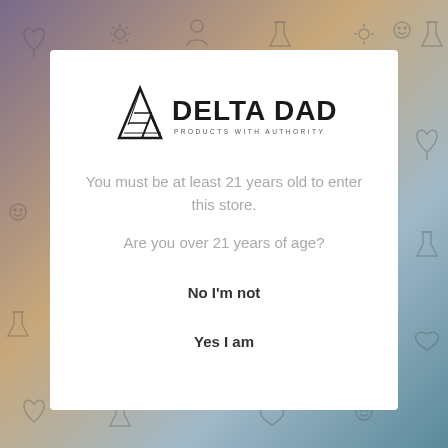[Figure (illustration): Background image of a tattooed person with colorful icons (cannabis leaves, flasks, hearts, sun symbols) overlaid on a blurred background]
[Figure (logo): Delta Daddy logo with a triangular mountain/tent icon and the text 'DELTA DADDY' in bold with tagline 'PRODUCTS WITH AUTHORITY']
You must be at least 21 years old to enter this store.
Are you over 21 years of age?
No I'm not
Yes I am